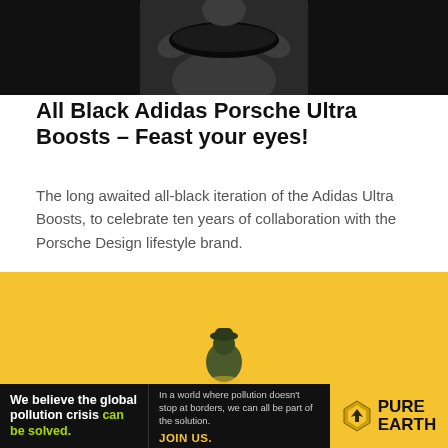[Figure (photo): Dark background photo showing a person in grey clothing holding a black sneaker/shoe, viewed from the torso up against a black background]
All Black Adidas Porsche Ultra Boosts – Feast your eyes!
The long awaited all-black iteration of the Adidas Ultra Boosts, to celebrate ten years of collaboration with the Porsche Design lifestyle brand.
[Figure (photo): Yellow/golden background with a small child figure visible at the bottom center, wearing dark clothing and a hat, viewed from behind]
[Figure (infographic): Advertisement banner for Pure Earth organization. Black background on left with text 'We believe the global pollution crisis can be solved.' (can be solved in green). Middle section with smaller text about pollution not stopping at borders. Right section yellow background with Pure Earth diamond logo and text PURE EARTH.]